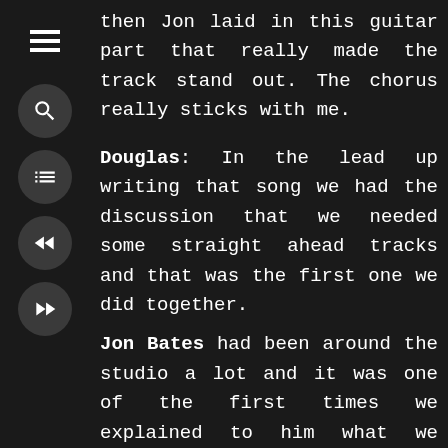then Jon laid in this guitar part that really made the track stand out. The chorus really sticks with me.
Douglas: In the lead up writing that song we had the discussion that we needed some straight ahead tracks and that was the first one we did together.
Jon Bates had been around the studio a lot and it was one of the first times we explained to him what we wanted, like a Talking Heads or Remain in Light era kind of vibe and he then independently came up with this idea. There's something interesting about the vibe. It